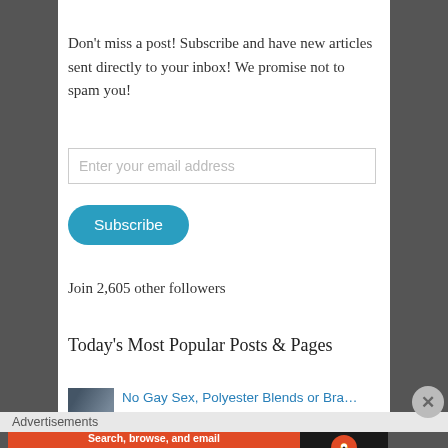Don't miss a post! Subscribe and have new articles sent directly to your inbox! We promise not to spam you!
Enter your email address
Subscribe
Join 2,605 other followers
Today's Most Popular Posts & Pages
No Gay Sex, Polyester Blends or Braided
Advertisements
[Figure (other): DuckDuckGo advertisement banner: Search, browse, and email with more privacy. All in One Free App. DuckDuckGo logo on dark background.]